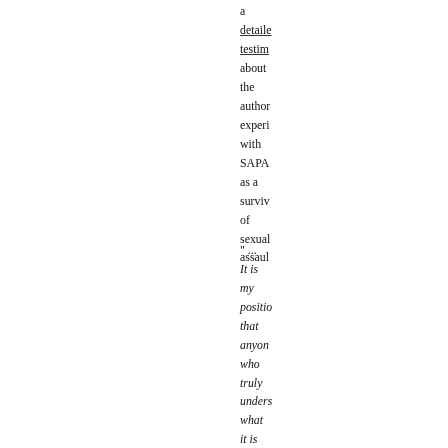a detailed testimony about the author experience with SAPA as a survivor of sexual assault
"... It is my position that anyone who truly understands what it is like to be